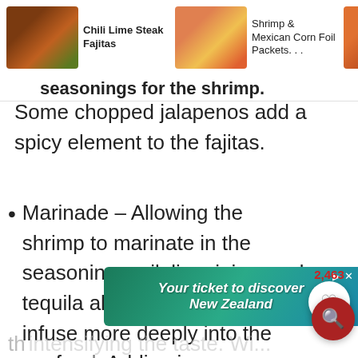Chili Lime Steak Fajitas | Shrimp & Mexican Corn Foil Packets... | Spicy Garlic ...ied ...ma Shrimp
Some chopped jalapenos add a spicy element to the fajitas.
Marinade – Allowing the shrimp to marinate in the seasonings, oil, lime juice, and tequila allows certain flavors to infuse more deeply into the seafood. Adding in some alcohol also improves flavor perception by bonding to both
[Figure (screenshot): Ad banner: Your ticket to discover New Zealand]
intensifying the taste. Wim mini